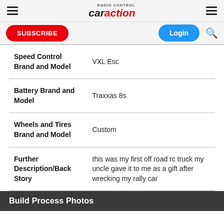Radio Control Car Action
SUBSCRIBE | Login
| Speed Control Brand and Model | VXL Esc |
| Battery Brand and Model | Traxxas 8s |
| Wheels and Tires Brand and Model | Custom |
| Further Description/Back Story | this was my first off road rc truck my uncle gave it to me as a gift after wrecking my rally car |
Build Process Photos